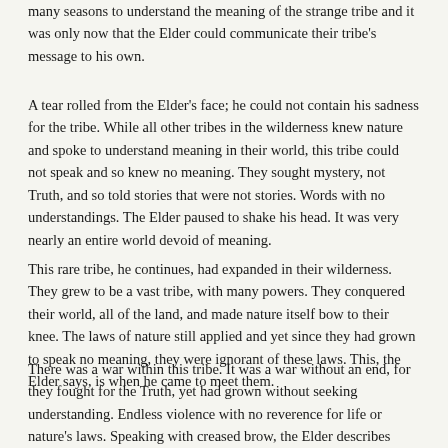many seasons to understand the meaning of the strange tribe and it was only now that the Elder could communicate their tribe's message to his own.
A tear rolled from the Elder's face; he could not contain his sadness for the tribe. While all other tribes in the wilderness knew nature and spoke to understand meaning in their world, this tribe could not speak and so knew no meaning. They sought mystery, not Truth, and so told stories that were not stories. Words with no understandings. The Elder paused to shake his head. It was very nearly an entire world devoid of meaning.
This rare tribe, he continues, had expanded in their wilderness. They grew to be a vast tribe, with many powers. They conquered their world, all of the land, and made nature itself bow to their knee. The laws of nature still applied and yet since they had grown to speak no meaning, they were ignorant of these laws. This, the Elder says, is when he came to meet them.
There was a war within this tribe. It was a war without an end, for they fought for the Truth, yet had grown without seeking understanding. Endless violence with no reverence for life or nature's laws. Speaking with creased brow, the Elder describes atrocities upon atrocities committed against the tribe themselves. They killed for their words. They killed for their Truth when it is not nature's Truth. They killed for nature, thinking they were its master.